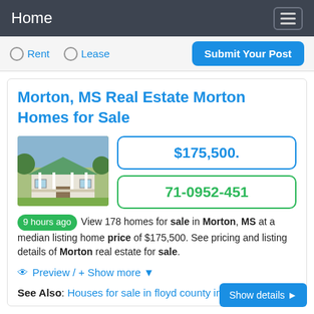Home
Rent   Lease   Submit Your Post
Morton, MS Real Estate Morton Homes for Sale
[Figure (photo): Exterior photo of a single-story house with white columns and green roof surrounded by trees]
$175,500.
71-0952-451
9 hours ago  View 178 homes for sale in Morton, MS at a median listing home price of $175,500. See pricing and listing details of Morton real estate for sale.
Preview / + Show more ▼
See Also: Houses for sale in floyd county in
Show details ▶